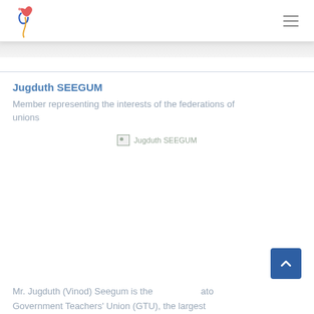Site logo and navigation menu
Jugduth SEEGUM
Member representing the interests of the federations of unions
[Figure (photo): Broken image placeholder for Jugduth SEEGUM portrait photo]
Mr. Jugduth (Vinod) Seegum is the ato Government Teachers' Union (GTU), the largest